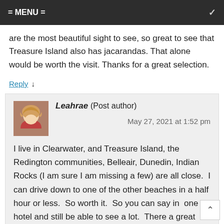= MENU =
are the most beautiful sight to see, so great to see that Treasure Island also has jacarandas. That alone would be worth the visit. Thanks for a great selection.
Reply ↓
Leahrae (Post author)
May 27, 2021 at 1:52 pm

I live in Clearwater, and Treasure Island, the Redington communities, Belleair, Dunedin, Indian Rocks (I am sure I am missing a few) are all close.  I can drive down to one of the other beaches in a half hour or less.  So worth it.  So you can say in  one hotel and still be able to see a lot.  There a great trolley system that can take you to the different areas.  Definitely worth it and Treasure Island has a great laid back